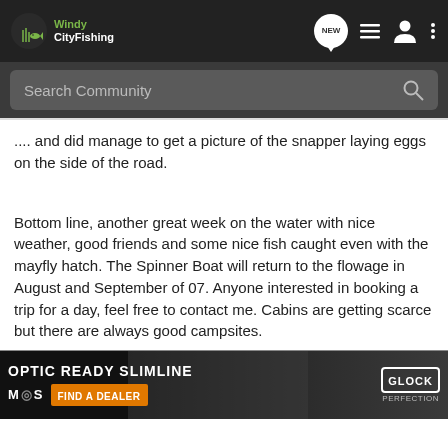Windy City Fishing
Search Community
.... and did manage to get a picture of the snapper laying eggs on the side of the road.
Bottom line, another great week on the water with nice weather, good friends and some nice fish caught even with the mayfly hatch. The Spinner Boat will return to the flowage in August and September of 07. Anyone interested in booking a trip for a day, feel free to contact me. Cabins are getting scarce but there are always good campsites.
[Figure (other): Advertisement banner for Glock MOS Optic Ready Slimline pistol with text OPTIC READY SLIMLINE, MOS, FIND A DEALER, and Glock Perfection logo]